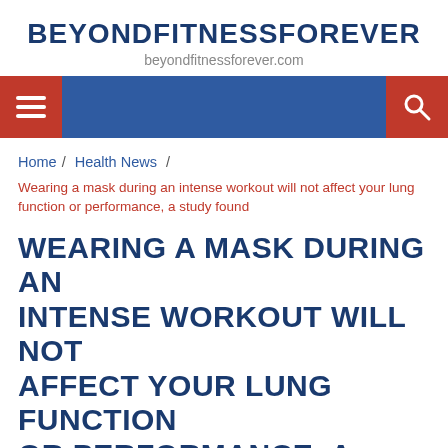BEYONDFITNESSFOREVER
beyondfitnessforever.com
[Figure (screenshot): Navigation bar with blue background, red hamburger menu button on left, red search button on right]
Home / Health News / Wearing a mask during an intense workout will not affect your lung function or performance, a study found
WEARING A MASK DURING AN INTENSE WORKOUT WILL NOT AFFECT YOUR LUNG FUNCTION OR PERFORMANCE, A STUDY FOUND
We and our partners use cookies on this site to improve our service, perform analytics, personalize advertising, measure advertising performance, and remember website preferences.
Ok